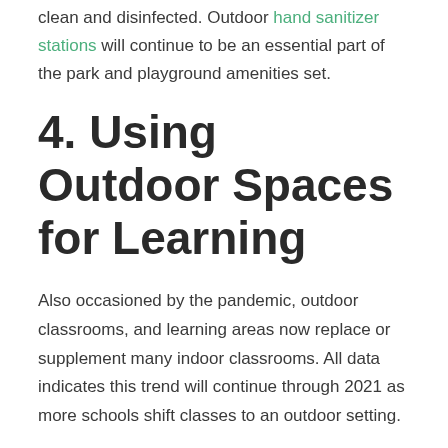clean and disinfected. Outdoor hand sanitizer stations will continue to be an essential part of the park and playground amenities set.
4. Using Outdoor Spaces for Learning
Also occasioned by the pandemic, outdoor classrooms, and learning areas now replace or supplement many indoor classrooms. All data indicates this trend will continue through 2021 as more schools shift classes to an outdoor setting.
Outdoor classrooms encourage play and activity in children, and they counteract the reduction in recess